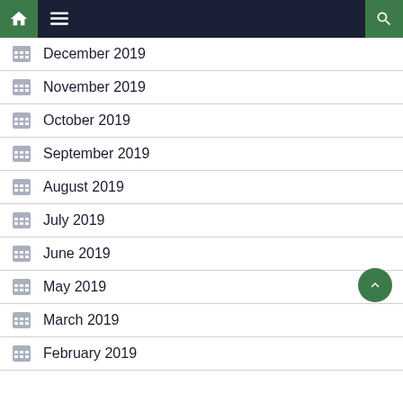Navigation bar with home, menu, and search icons
December 2019
November 2019
October 2019
September 2019
August 2019
July 2019
June 2019
May 2019
March 2019
February 2019